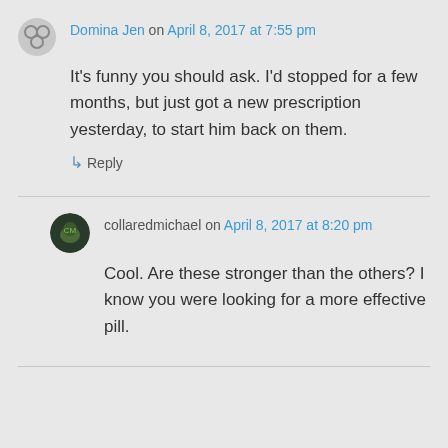Domina Jen on April 8, 2017 at 7:55 pm
It's funny you should ask. I'd stopped for a few months, but just got a new prescription yesterday, to start him back on them.
↳ Reply
collaredmichael on April 8, 2017 at 8:20 pm
Cool. Are these stronger than the others? I know you were looking for a more effective pill.